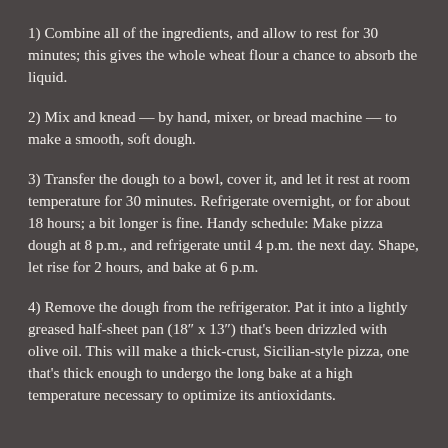1) Combine all of the ingredients, and allow to rest for 30 minutes; this gives the whole wheat flour a chance to absorb the liquid.
2) Mix and knead — by hand, mixer, or bread machine — to make a smooth, soft dough.
3) Transfer the dough to a bowl, cover it, and let it rest at room temperature for 30 minutes. Refrigerate overnight, or for about 18 hours; a bit longer is fine. Handy schedule: Make pizza dough at 8 p.m., and refrigerate until 4 p.m. the next day. Shape, let rise for 2 hours, and bake at 6 p.m.
4) Remove the dough from the refrigerator. Pat it into a lightly greased half-sheet pan (18″ x 13″) that's been drizzled with olive oil. This will make a thick-crust, Sicilian-style pizza, one that's thick enough to undergo the long bake at a high temperature necessary to optimize its antioxidants.